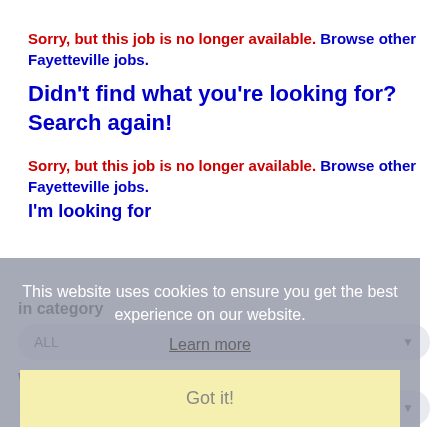Sorry, but this job is no longer available. Browse other Fayetteville jobs.
Didn't find what you're looking for? Search again!
Sorry, but this job is no longer available. Browse other Fayetteville jobs.
I'm looking for
in category
ALL
within
100 Miles of Fayetteville
This website uses cookies to ensure you get the best experience on our website. Learn more Got it!